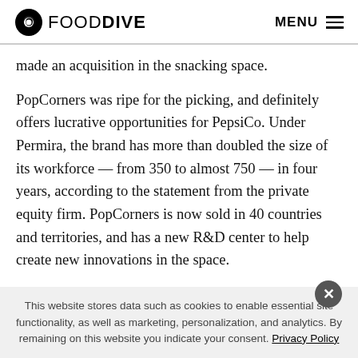FOOD DIVE | MENU
made an acquisition in the snacking space.
PopCorners was ripe for the picking, and definitely offers lucrative opportunities for PepsiCo. Under Permira, the brand has more than doubled the size of its workforce — from 350 to almost 750 — in four years, according to the statement from the private equity firm. PopCorners is now sold in 40 countries and territories, and has a new R&D center to help create new innovations in the space.
This website stores data such as cookies to enable essential site functionality, as well as marketing, personalization, and analytics. By remaining on this website you indicate your consent. Privacy Policy